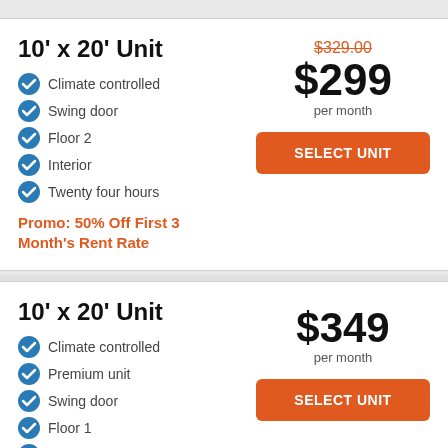10' x 20' Unit
Climate controlled
Swing door
Floor 2
Interior
Twenty four hours
Promo: 50% Off First 3 Month's Rent Rate
$329.00 (strikethrough)
$299 per month
SELECT UNIT
10' x 20' Unit
Climate controlled
Premium unit
Swing door
Floor 1
Interior
Twenty four hours
$349 per month
SELECT UNIT